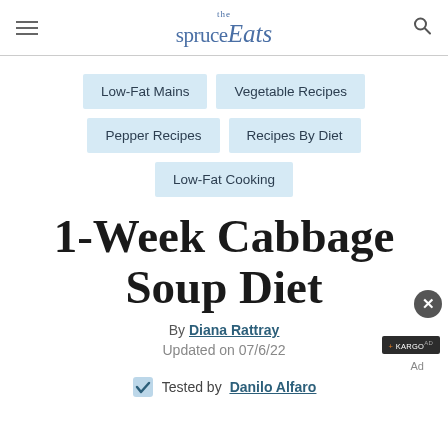the spruce Eats
Low-Fat Mains
Vegetable Recipes
Pepper Recipes
Recipes By Diet
Low-Fat Cooking
1-Week Cabbage Soup Diet
By Diana Rattray
Updated on 07/6/22
Tested by Danilo Alfaro